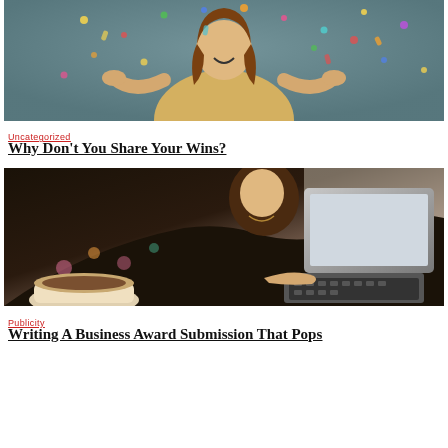[Figure (photo): Woman in yellow top with arms raised, smiling, with gold confetti falling around her against a teal background]
Uncategorized
Why Don't You Share Your Wins?
[Figure (photo): Woman in floral dark top typing on a laptop at a cafe, with a coffee cup in the foreground]
Publicity
Writing A Business Award Submission That Pops